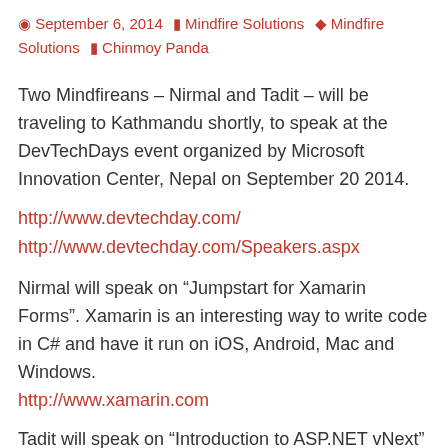September 6, 2014  Mindfire Solutions  Mindfire Solutions  Chinmoy Panda
Two Mindfireans – Nirmal and Tadit – will be traveling to Kathmandu shortly, to speak at the DevTechDays event organized by Microsoft Innovation Center, Nepal on September 20 2014.
http://www.devtechday.com/
http://www.devtechday.com/Speakers.aspx
Nirmal will speak on “Jumpstart for Xamarin Forms”. Xamarin is an interesting way to write code in C# and have it run on iOS, Android, Mac and Windows. http://www.xamarin.com
Tadit will speak on “Introduction to ASP.NET vNext”